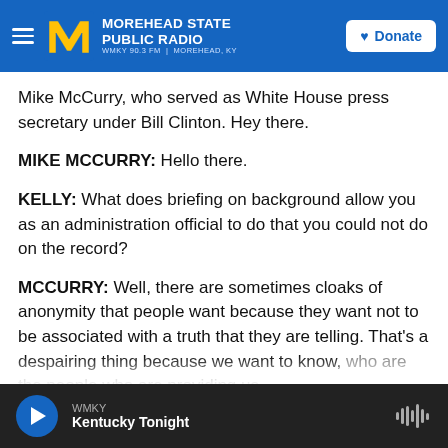Morehead State Public Radio — WMKY 90.3 FM | Morehead, KY
Mike McCurry, who served as White House press secretary under Bill Clinton. Hey there.
MIKE MCCURRY: Hello there.
KELLY: What does briefing on background allow you as an administration official to do that you could not do on the record?
MCCURRY: Well, there are sometimes cloaks of anonymity that people want because they want not to be associated with a truth that they are telling. That's a despairing thing because we want to know, who are the people who are providing us
WMKY — Kentucky Tonight